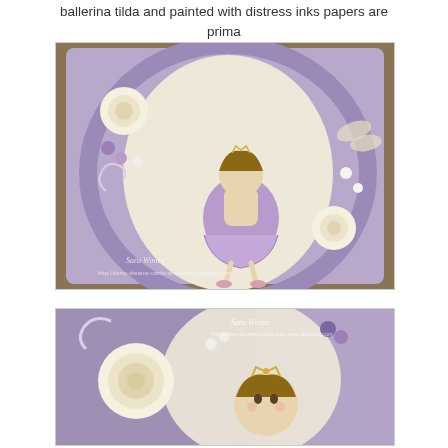ballerina tilda and painted with distress inks papers are prima
[Figure (photo): A decorative craft card/plaque featuring a Tilda ballerina doll stamp colored in purple, surrounded by lavender and cream paper flowers, roses, and embellishments on a purple patterned background. The card is displayed on an easel. Watermark reads 'Sara Winter' and blog URL.]
[Figure (photo): Close-up detail of the same craft card showing the Tilda ballerina face and upper body with tiara, surrounded by cream roses and purple flowers. Watermark reads 'Sara Winter' and blog URL.]